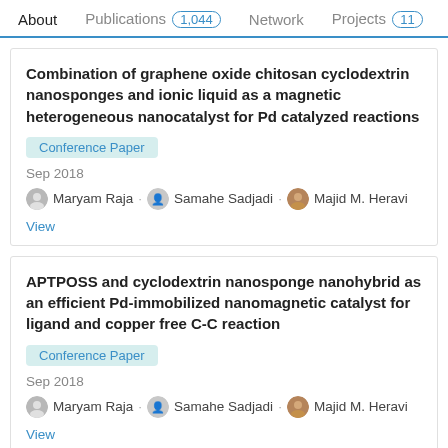About   Publications 1,044   Network   Projects 11
Combination of graphene oxide chitosan cyclodextrin nanosponges and ionic liquid as a magnetic heterogeneous nanocatalyst for Pd catalyzed reactions
Conference Paper
Sep 2018
Maryam Raja · Samahe Sadjadi · Majid M. Heravi
View
APTPOSS and cyclodextrin nanosponge nanohybrid as an efficient Pd-immobilized nanomagnetic catalyst for ligand and copper free C-C reaction
Conference Paper
Sep 2018
Maryam Raja · Samahe Sadjadi · Majid M. Heravi
View